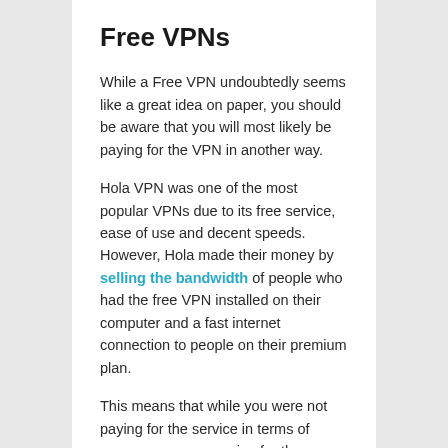Free VPNs
While a Free VPN undoubtedly seems like a great idea on paper, you should be aware that you will most likely be paying for the VPN in another way.
Hola VPN was one of the most popular VPNs due to its free service, ease of use and decent speeds. However, Hola made their money by selling the bandwidth of people who had the free VPN installed on their computer and a fast internet connection to people on their premium plan.
This means that while you were not paying for the service in terms of money, you were paying for the service by giving up your internet bandwidth.